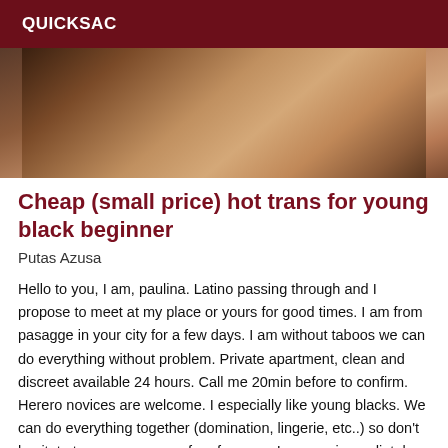QUICKSAC
[Figure (photo): Close-up photo of a person]
Cheap (small price) hot trans for young black beginner
Putas Azusa
Hello to you, I am, paulina. Latino passing through and I propose to meet at my place or yours for good times. I am from pasagge in your city for a few days. I am without taboos we can do everything without problem. Private apartment, clean and discreet available 24 hours. Call me 20min before to confirm. Herero novices are welcome. I especially like young blacks. We can do everything together (domination, lingerie, etc..) so don't hesitate to propose. sms of preferences I answer immediately.